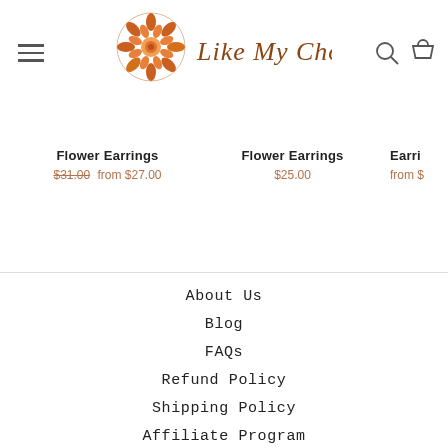Like My Choice — navigation header with hamburger menu, logo, search and cart icons
Flower Earrings $31.00 from $27.00
Flower Earrings $25.00
Earri... from $...
About Us
Blog
FAQs
Refund Policy
Shipping Policy
Affiliate Program